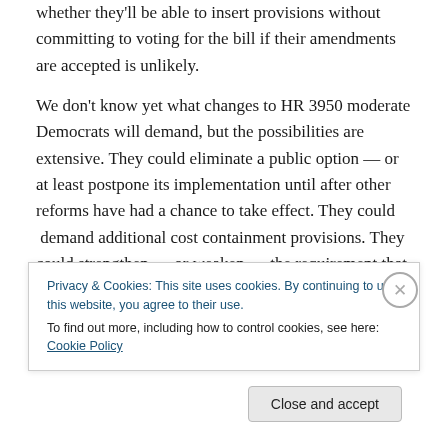whether they'll be able to insert provisions without committing to voting for the bill if their amendments are accepted is unlikely.
We don't know yet what changes to HR 3950 moderate Democrats will demand, but the possibilities are extensive. They could eliminate a public option — or at least postpone its implementation until after other reforms have had a chance to take effect. They could  demand additional cost containment provisions. They could strengthen — or weaken — the requirement that all consumers obtain coverage.  Certainly they will modify
Privacy & Cookies: This site uses cookies. By continuing to use this website, you agree to their use.
To find out more, including how to control cookies, see here: Cookie Policy